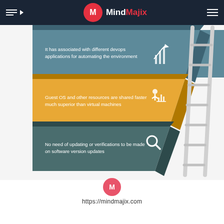MindMajix navigation bar
[Figure (infographic): 3-tier stacked infographic showing Docker/DevOps features: (1) teal tier - 'It has associated with different devops applications for automating the environment' with arrow-down icon; (2) yellow/gold tier - 'Guest OS and other resources are shared faster much superior than virtual machines' with person-chart icon; (3) dark teal tier - 'No need of updating or verifications to be made on software version updates' with magnifying glass icon. A ladder leans against the right side. Below: MindMajix logo circle and URL https://mindmajix.com]